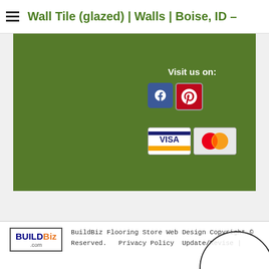Wall Tile (glazed) | Walls | Boise, ID -
[Figure (screenshot): Green banner section with social media icons (Facebook, Pinterest) and payment method icons (VISA, MasterCard), with 'Visit us on:' label]
[Figure (logo): BuildBiz.com logo in bordered box]
BuildBiz Flooring Store Web Design Copyright © ... Reserved. Privacy Policy Update/Revise |